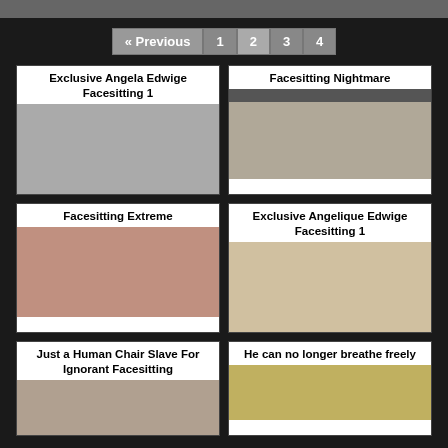« Previous 1 2 3 4
[Figure (photo): Exclusive Angela Edwige Facesitting 1 - thumbnail]
[Figure (photo): Facesitting Nightmare - thumbnail]
[Figure (photo): Facesitting Extreme - thumbnail]
[Figure (photo): Exclusive Angelique Edwige Facesitting 1 - thumbnail]
[Figure (photo): Just a Human Chair Slave For Ignorant Facesitting - thumbnail]
[Figure (photo): He can no longer breathe freely - thumbnail]